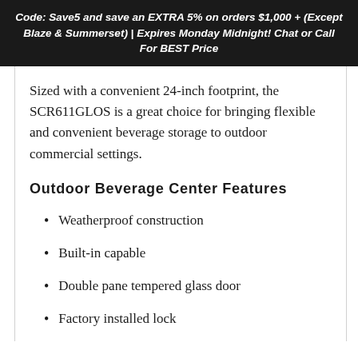Code: Save5 and save an EXTRA 5% on orders $1,000 + (Except Blaze & Summerset) | Expires Monday Midnight! Chat or Call For BEST Price
Sized with a convenient 24-inch footprint, the SCR611GLOS is a great choice for bringing flexible and convenient beverage storage to outdoor commercial settings.
Outdoor Beverage Center Features
Weatherproof construction
Built-in capable
Double pane tempered glass door
Factory installed lock